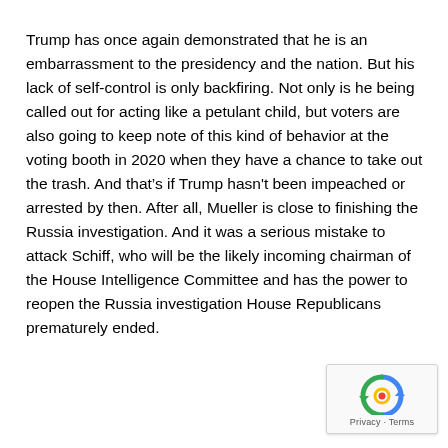Trump has once again demonstrated that he is an embarrassment to the presidency and the nation. But his lack of self-control is only backfiring. Not only is he being called out for acting like a petulant child, but voters are also going to keep note of this kind of behavior at the voting booth in 2020 when they have a chance to take out the trash. And that's if Trump hasn't been impeached or arrested by then. After all, Mueller is close to finishing the Russia investigation. And it was a serious mistake to attack Schiff, who will be the likely incoming chairman of the House Intelligence Committee and has the power to reopen the Russia investigation House Republicans prematurely ended.
[Figure (logo): reCAPTCHA badge with privacy and terms links]